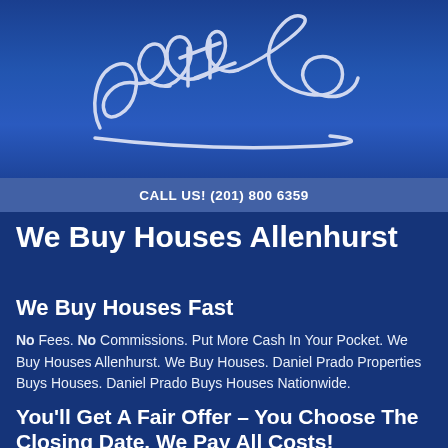[Figure (illustration): White cursive signature/logo on blue background]
CALL US! (201) 800 6359
We Buy Houses Allenhurst
We Buy Houses Fast
No Fees. No Commissions. Put More Cash In Your Pocket. We Buy Houses Allenhurst. We Buy Houses. Daniel Prado Properties Buys Houses. Daniel Prado Buys Houses Nationwide.
You'll Get A Fair Offer – You Choose The Closing Date. We Pay All Costs!